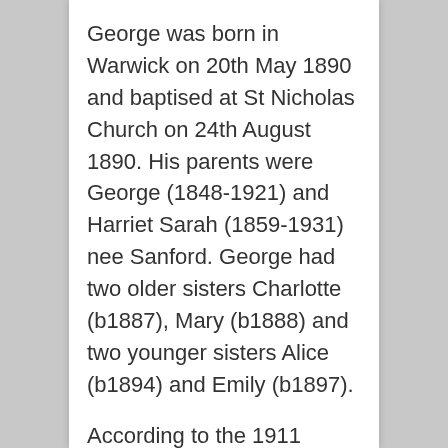George was born in Warwick on 20th May 1890 and baptised at St Nicholas Church on 24th August 1890. His parents were George (1848-1921) and Harriet Sarah (1859-1931) nee Sanford. George had two older sisters Charlotte (b1887), Mary (b1888) and two younger sisters Alice (b1894) and Emily (b1897).
According to the 1911